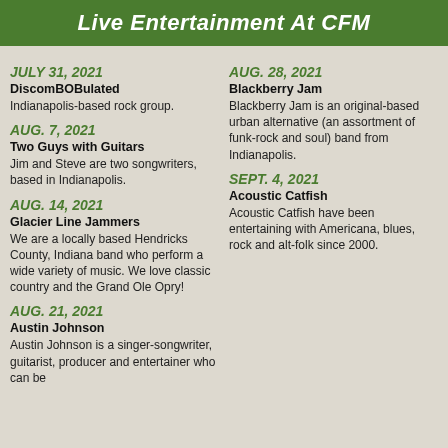Live Entertainment At CFM
JULY 31, 2021
DiscomBOBulated
Indianapolis-based rock group.
AUG. 7, 2021
Two Guys with Guitars
Jim and Steve are two songwriters, based in Indianapolis.
AUG. 14, 2021
Glacier Line Jammers
We are a locally based Hendricks County, Indiana band who perform a wide variety of music. We love classic country and the Grand Ole Opry!
AUG. 21, 2021
Austin Johnson
Austin Johnson is a singer-songwriter, guitarist, producer and entertainer who can be
AUG. 28, 2021
Blackberry Jam
Blackberry Jam is an original-based urban alternative (an assortment of funk-rock and soul) band from Indianapolis.
SEPT. 4, 2021
Acoustic Catfish
Acoustic Catfish have been entertaining with Americana, blues, rock and alt-folk since 2000.